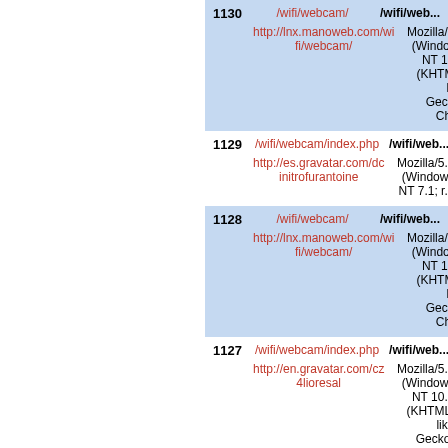| # | Path | Right |
| --- | --- | --- |
| 1130 | /wifi/webcam/ | /wifi/web... |
|  | http://lnx.manoweb.com/wifi/webcam/ | Mozilla/5.0 (Windows NT 10.0) (KHTML, like Gecko) Chr... |
| 1129 | /wifi/webcam/index.php | /wifi/web... |
|  | http://es.gravatar.com/dcinitrofurantoine | Mozilla/5.0 (Windows NT 7.1; r... |
| 1128 | /wifi/webcam/ | /wifi/web... |
|  | http://lnx.manoweb.com/wifi/webcam/ | Mozilla/5.0 (Windows NT 10.0) (KHTML, like Gecko) Chr... |
| 1127 | /wifi/webcam/index.php | /wifi/web... |
|  | http://en.gravatar.com/cz4lioresal | Mozilla/5.0 (Windows NT 10.0) (KHTML, like Gecko) Chr... Edge... |
| 1126 | /wifi/webcam/ | /wifi/web... |